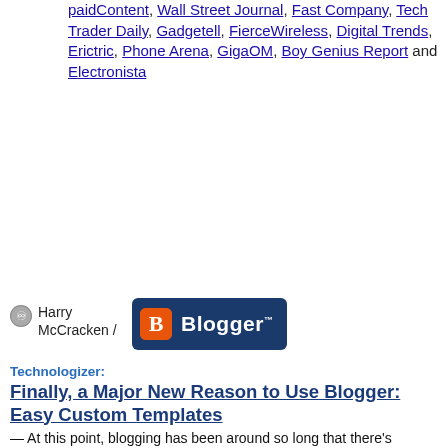paidContent, Wall Street Journal, Fast Company, Tech Trader Daily, Gadgetell, FierceWireless, Digital Trends, Erictric, Phone Arena, GigaOM, Boy Genius Report and Electronista
Harry McCracken /
[Figure (logo): Blogger logo — dark blue rounded rectangle with orange 'B' icon and white 'Blogger' text]
Technologizer: Finally, a Major New Reason to Use Blogger: Easy Custom Templates — At this point, blogging has been around so long that there's nothing extraordinary about almost anyone-from an eleven-year-old to a grandma-having his or her own blog.  One basic thing about blogging, however …
Discussion:  L.A. Times Tech Blog, Computerworld, ReadWriteWeb, VentureBeat and The Blog Herald
RELATED: